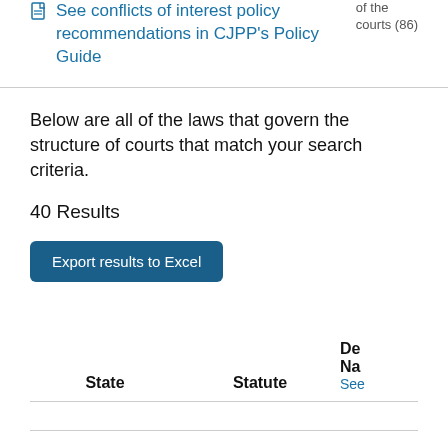of the courts (86)
See conflicts of interest policy recommendations in CJPP's Policy Guide
Below are all of the laws that govern the structure of courts that match your search criteria.
40 Results
Export results to Excel
| State | Statute | De Na See |
| --- | --- | --- |